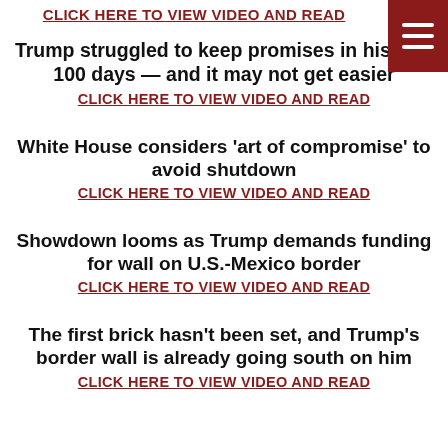CLICK HERE TO VIEW VIDEO AND READ
Trump struggled to keep promises in his first 100 days — and it may not get easier
CLICK HERE TO VIEW VIDEO AND READ
White House considers 'art of compromise' to avoid shutdown
CLICK HERE TO VIEW VIDEO AND READ
Showdown looms as Trump demands funding for wall on U.S.-Mexico border
CLICK HERE TO VIEW VIDEO AND READ
The first brick hasn't been set, and Trump's border wall is already going south on him
CLICK HERE TO VIEW VIDEO AND READ